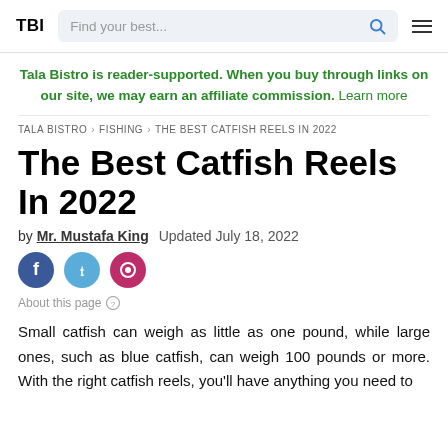TBI | Find your best...
Tala Bistro is reader-supported. When you buy through links on our site, we may earn an affiliate commission. Learn more
TALA BISTRO › FISHING › THE BEST CATFISH REELS IN 2022
The Best Catfish Reels In 2022
by Mr. Mustafa King   Updated July 18, 2022
[Figure (illustration): Social media share icons: Facebook, Twitter, Pinterest]
About this page ⓘ
Small catfish can weigh as little as one pound, while large ones, such as blue catfish, can weigh 100 pounds or more. With the right catfish reels, you'll have anything you need to